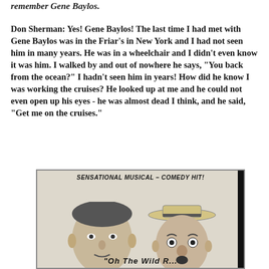remember Gene Baylos.
Don Sherman: Yes! Gene Baylos! The last time I had met with Gene Baylos was in the Friar's in New York and I had not seen him in many years. He was in a wheelchair and I didn't even know it was him. I walked by and out of nowhere he says, "You back from the ocean?" I hadn't seen him in years! How did he know I was working the cruises? He looked up at me and he could not even open up his eyes - he was almost dead I think, and he said, "Get me on the cruises."
[Figure (photo): Vintage advertisement or promotional image showing two men's faces with the text 'SENSATIONAL MUSICAL-COMEDY HIT!' at the top and partial text at the bottom reading something like 'Oh The Wild...']